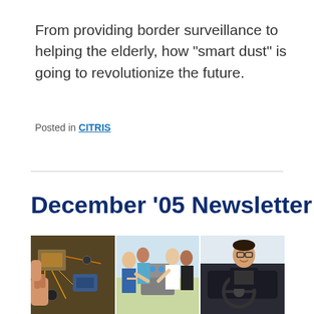From providing border surveillance to helping the elderly, how "smart dust" is going to revolutionize the future.
Posted in CITRIS
December '05 Newsletter
[Figure (photo): Three panel photo strip showing: left panel - hands working with electronics/robotics wiring; middle panel - group of people gathered around a robot on a table; right panel - person wearing glasses sitting in a car cockpit/simulator]